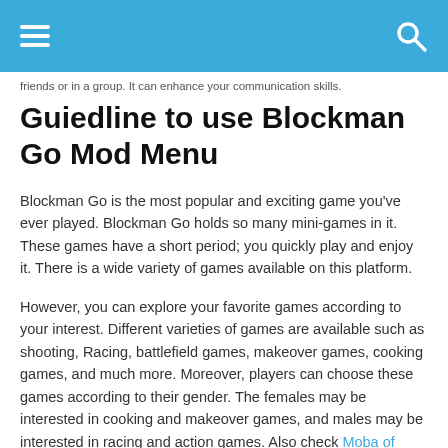☰  [hamburger menu] [search icon]
friends or in a group. It can enhance your communication skills.
Guiedline to use Blockman Go Mod Menu
Blockman Go is the most popular and exciting game you've ever played. Blockman Go holds so many mini-games in it. These games have a short period; you quickly play and enjoy it. There is a wide variety of games available on this platform.
However, you can explore your favorite games according to your interest. Different varieties of games are available such as shooting, Racing, battlefield games, makeover games, cooking games, and much more. Moreover, players can choose these games according to their gender. The females may be interested in cooking and makeover games, and males may be interested in racing and action games. Also check Moba of freedom and Dragon City Hack.